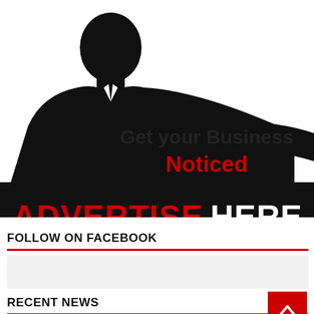[Figure (illustration): Advertisement banner showing a black silhouette of a businessman with the text 'Get your Business Noticed' and 'ADVERTISE HERE' on a black background]
FOLLOW ON FACEBOOK
RECENT NEWS